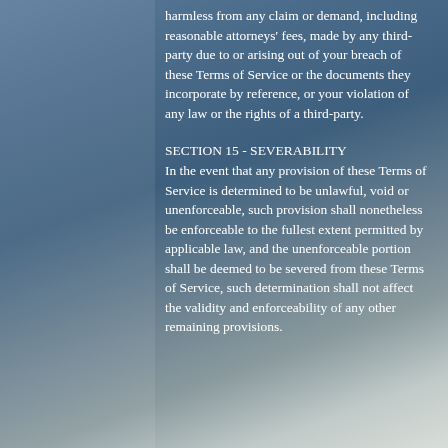harmless from any claim or demand, including reasonable attorneys' fees, made by any third-party due to or arising out of your breach of these Terms of Service or the documents they incorporate by reference, or your violation of any law or the rights of a third-party.
SECTION 15 - SEVERABILITY
In the event that any provision of these Terms of Service is determined to be unlawful, void or unenforceable, such provision shall nonetheless be enforceable to the fullest extent permitted by applicable law, and the unenforceable portion shall be deemed to be severed from these Terms of Service, such determination shall not affect the validity and enforceability of any other remaining provisions.